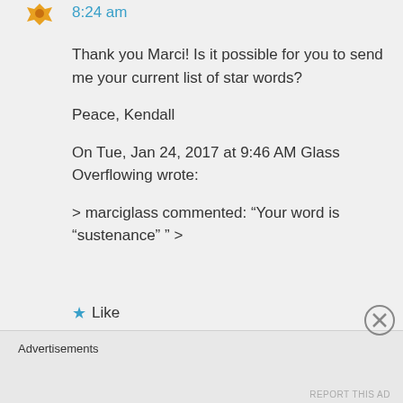[Figure (illustration): Orange avatar/icon in top left area]
8:24 am
Thank you Marci! Is it possible for you to send me your current list of star words?
Peace, Kendall
On Tue, Jan 24, 2017 at 9:46 AM Glass Overflowing wrote:
> marciglass commented: “Your word is “sustenance” ” >
★ Like
Advertisements
REPORT THIS AD